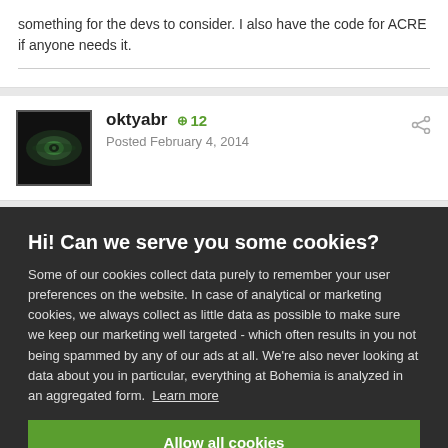Not sure how you would incorporate this into ACRE though, might be something for the devs to consider. I also have the code for ACRE if anyone needs it.
oktyabr   +12   Posted February 4, 2014
Hi! Can we serve you some cookies?
Some of our cookies collect data purely to remember your user preferences on the website. In case of analytical or marketing cookies, we always collect as little data as possible to make sure we keep our marketing well targeted - which often results in you not being spammed by any of our ads at all. We're also never looking at data about you in particular, everything at Bohemia is analyzed in an aggregated form. Learn more
Allow all cookies
I want more options